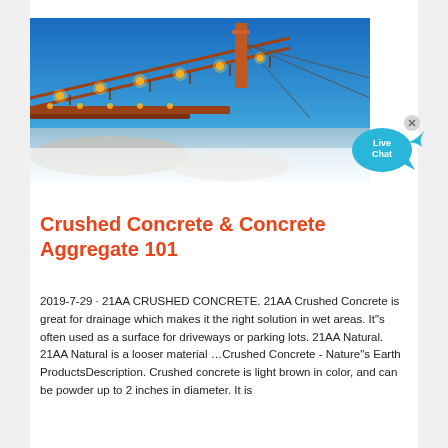[Figure (photo): Industrial conveyor bridge or mining/construction equipment photographed at night/dusk with orange lights against a blue sky, with piles of aggregate material below.]
Crushed Concrete & Concrete Aggregate 101
2019-7-29 · 21AA CRUSHED CONCRETE. 21AA Crushed Concrete is great for drainage which makes it the right solution in wet areas. It"s often used as a surface for driveways or parking lots. 21AA Natural. 21AA Natural is a looser material …Crushed Concrete - Nature"s Earth ProductsDescription. Crushed concrete is light brown in color, and can be powder up to 2 inches in diameter. It is